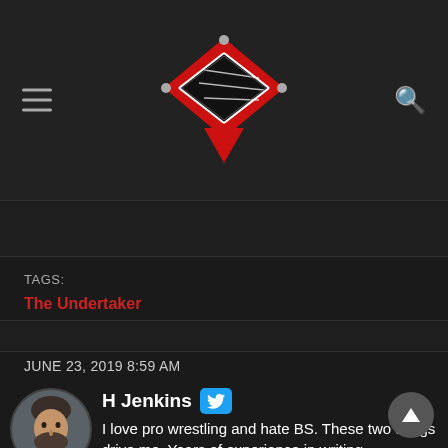[Figure (logo): Ringside News logo — a wrestling ring viewed from above in red/black with white ropes, diamond/shield shape]
TAGS:
The Undertaker
JUNE 23, 2019 8:59 AM
[Figure (photo): Circular avatar photo of H Jenkins, a young man with beard wearing dark jacket]
H Jenkins
I love pro wrestling and hate BS. These two things drive me. Years of experience in writing, journalism, and digging exclusive insider info for Ringside News. Worked in finance before realizing pro